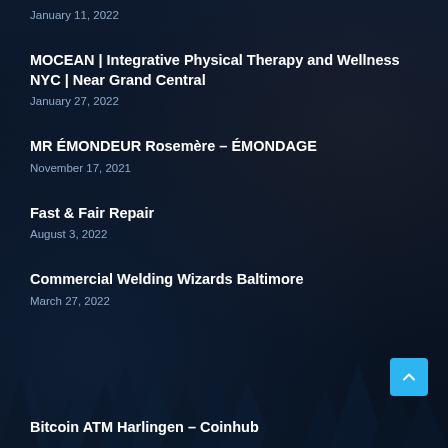January 11, 2022
MOCEAN | Integrative Physical Therapy and Wellness NYC | Near Grand Central
January 27, 2022
MR ÉMONDEUR Rosemère – ÉMONDAGE
November 17, 2021
Fast & Fair Repair
August 3, 2022
Commercial Welding Wizards Baltimore
March 27, 2022
Bitcoin ATM Harlingen – Coinhub